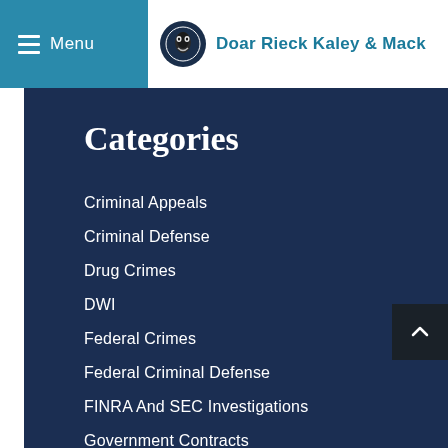Menu | Doar Rieck Kaley & Mack
Categories
Criminal Appeals
Criminal Defense
Drug Crimes
DWI
Federal Crimes
Federal Criminal Defense
FINRA And SEC Investigations
Government Contracts